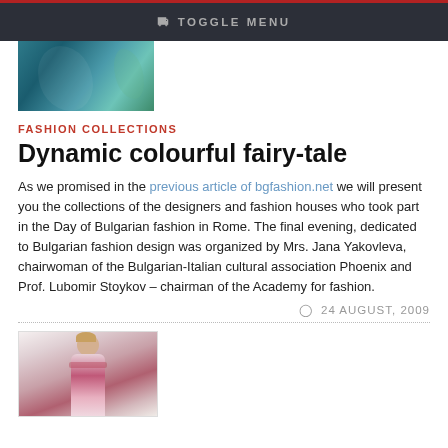TOGGLE MENU
[Figure (photo): Partial view of a woman wearing a colorful teal/blue outfit, cropped at top of page]
FASHION COLLECTIONS
Dynamic colourful fairy-tale
As we promised in the previous article of bgfashion.net we will present you the collections of the designers and fashion houses who took part in the Day of Bulgarian fashion in Rome. The final evening, dedicated to Bulgarian fashion design was organized by Mrs. Jana Yakovleva, chairwoman of the Bulgarian-Italian cultural association Phoenix and Prof. Lubomir Stoykov – chairman of the Academy for fashion.
24 AUGUST, 2009
[Figure (photo): Fashion model in colorful outfit with hair up, wearing a pink/red garment with decorative elements]